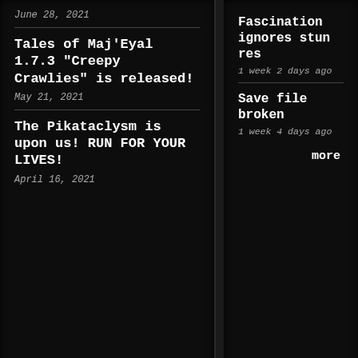June 28, 2021
Tales of Maj'Eyal 1.7.3 “Creepy Crawlies” is released!
May 21, 2021
The Pikataclysm is upon us! RUN FOR YOUR LIVES!
April 16, 2021
Fascination ignores stun res
1 week 2 days ago
Save file broken
1 week 4 days ago
more